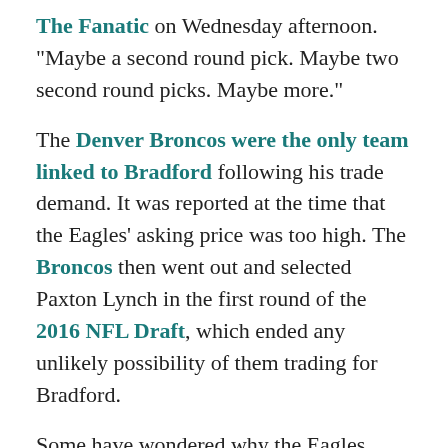The Fanatic on Wednesday afternoon. "Maybe a second round pick. Maybe two second round picks. Maybe more."
The Denver Broncos were the only team linked to Bradford following his trade demand. It was reported at the time that the Eagles' asking price was too high. The Broncos then went out and selected Paxton Lynch in the first round of the 2016 NFL Draft, which ended any unlikely possibility of them trading for Bradford.
Some have wondered why the Eagles didn't just trade Bradford for anything they could get in return. They wonder why Bradford is still around knowing that he's a lame duck starter at quarterback. It's only a matter of time until the Birds eventually hand the reigns to